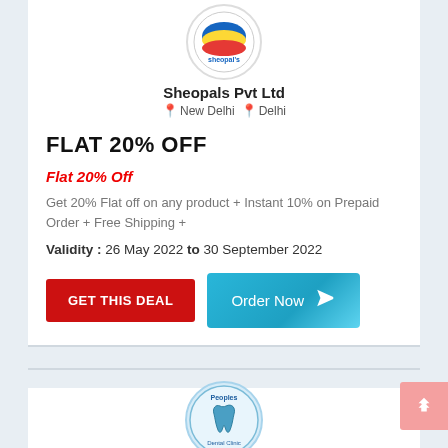[Figure (logo): Sheopals Pvt Ltd circular logo with blue/yellow design]
Sheopals Pvt Ltd
📍 New Delhi 📍 Delhi
FLAT 20% OFF
Flat 20% Off
Get 20% Flat off on any product + Instant 10% on Prepaid Order + Free Shipping +
Validity : 26 May 2022 to 30 September 2022
GET THIS DEAL   Order Now
[Figure (logo): Peoples Dental Clinic circular logo with tooth icon]